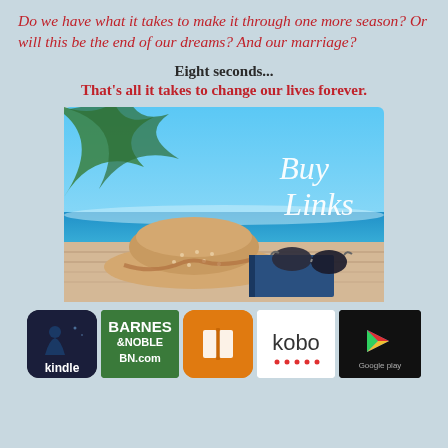Do we have what it takes to make it through one more season? Or will this be the end of our dreams? And our marriage?
Eight seconds...
That's all it takes to change our lives forever.
[Figure (illustration): A 'Buy Links' promotional image featuring a beach scene with palm leaves, blue ocean sky, a straw sun hat, sunglasses, and a book — with 'Buy Links' written in white cursive script on the right side.]
[Figure (infographic): Row of retailer store icons: Kindle (dark blue rounded square), Barnes & Noble BN.com (green square), Apple Books (orange rounded square with book icon), Kobo (white square with kobo text), Google Play (dark square with triangle logo).]